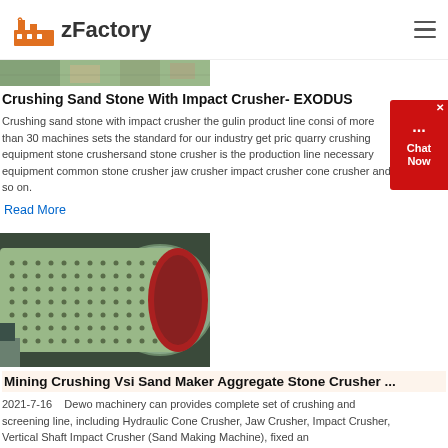zFactory
[Figure (photo): Industrial crushing equipment or stone crusher machinery, partial image visible]
Crushing Sand Stone With Impact Crusher- EXODUS
Crushing sand stone with impact crusher the gulin product line consi of more than 30 machines sets the standard for our industry get pric quarry crushing equipment stone crushersand stone crusher is the production line necessary equipment common stone crusher jaw crusher impact crusher cone crusher and so on.
Read More
[Figure (photo): Large industrial ball mill or cylindrical grinding machine with perforated drum surface, blue-green color with red end cap]
Mining Crushing Vsi Sand Maker Aggregate Stone Crusher ...
2021-7-16   Dewo machinery can provides complete set of crushing and screening line, including Hydraulic Cone Crusher, Jaw Crusher, Impact Crusher, Vertical Shaft Impact Crusher (Sand Making Machine), fixed an